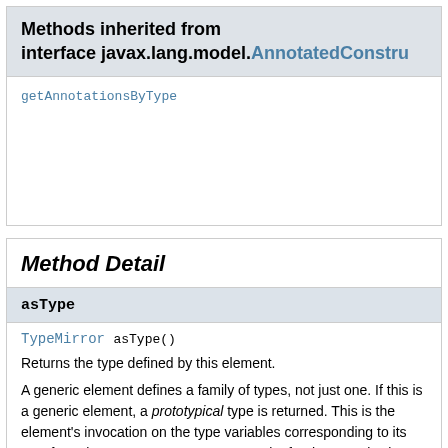Methods inherited from interface javax.lang.model.AnnotatedConstru
getAnnotationsByType
Method Detail
asType
TypeMirror asType()
Returns the type defined by this element.
A generic element defines a family of types, not just one. If this is a generic element, a prototypical type is returned. This is the element's invocation on the type variables corresponding to its own formal type parameters. For example, for the generic class element C<N extends Number>, the parameterized type C<N> is returned. The Types utility interface has more general methods for